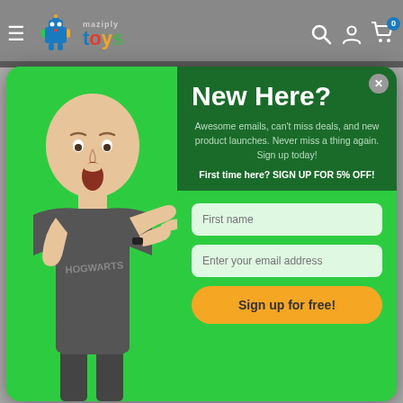Maziply Toys — navigation bar with hamburger menu, logo, search, account, and cart (0 items)
[Figure (screenshot): Popup modal with green background. Left side shows a bald man in a Hogwarts t-shirt pointing right with a surprised expression. Right side has dark green panel with heading 'New Here?', description text about emails and deals, promo text about 5% off, then two input fields (First name, Enter your email address) and a yellow 'Sign up for free!' button.]
suitable for children under 3 years.
Get your Ravensburger Tigers in Paradise 3000 Piece